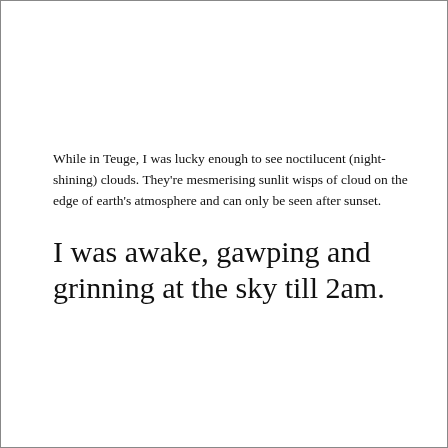While in Teuge, I was lucky enough to see noctilucent (night-shining) clouds. They're mesmerising sunlit wisps of cloud on the edge of earth's atmosphere and can only be seen after sunset.
I was awake, gawping and grinning at the sky till 2am.